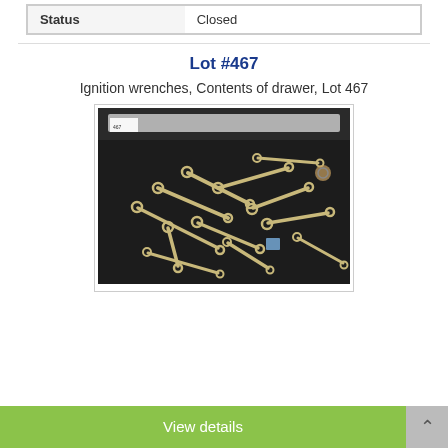| Status | Closed |
| --- | --- |
Lot #467
Ignition wrenches, Contents of drawer, Lot 467
[Figure (photo): An open drawer containing a large collection of ignition wrenches scattered on a dark tray surface, with a label tag visible in the upper left corner.]
View details